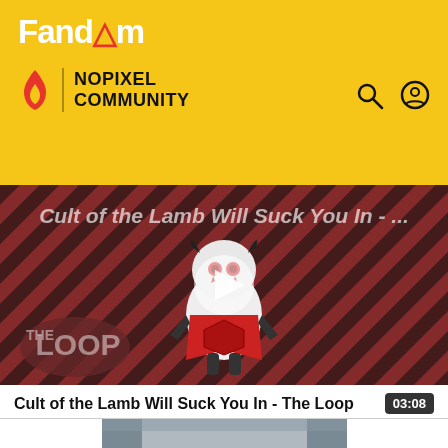Fandom | NOPIXEL COMMUNITY
[Figure (screenshot): Video thumbnail for 'Cult of the Lamb Will Suck You In - The Loop' featuring a lamb character on a striped red/dark background with THE LOOP text and a play button overlay]
Cult of the Lamb Will Suck You In - The Loop  03:08
| STATUS |  |
| --- | --- |
| STATUS | Active |